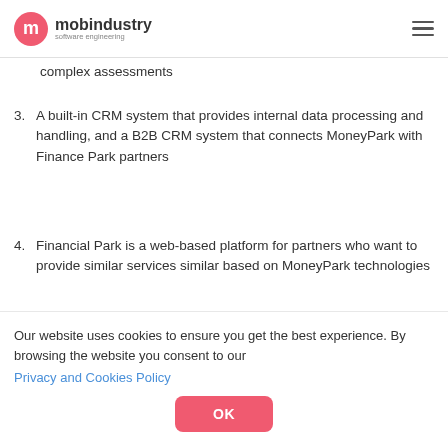mobindustry software engineering
complex assessments
3. A built-in CRM system that provides internal data processing and handling, and a B2B CRM system that connects MoneyPark with Finance Park partners
4. Financial Park is a web-based platform for partners who want to provide similar services similar based on MoneyPark technologies
Our website uses cookies to ensure you get the best experience. By browsing the website you consent to our Privacy and Cookies Policy
OK